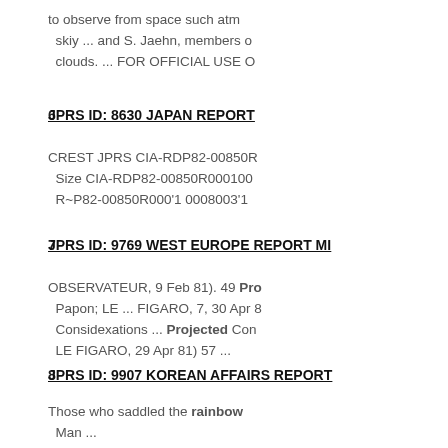to observe from space such atm skiy ... and S. Jaehn, members o clouds. ... FOR OFFICIAL USE O
6
JPRS ID: 8630 JAPAN REPORT
CREST JPRS CIA-RDP82-00850R Size CIA-RDP82-00850R000100 R~P82-00850R000'1 0008003'1
7
JPRS ID: 9769 WEST EUROPE REPORT MI
OBSERVATEUR, 9 Feb 81). 49 Projected Papon; LE ... FIGARO, 7, 30 Apr 8 Considexations ... Projected Con LE FIGARO, 29 Apr 81) 57 ...
8
JPRS ID: 9907 KOREAN AFFAIRS REPORT
Those who saddled the rainbow Man ...
9